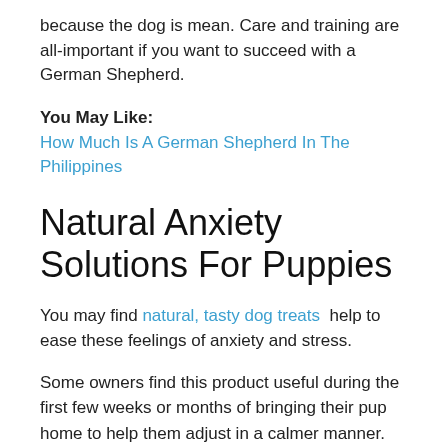because the dog is mean. Care and training are all-important if you want to succeed with a German Shepherd.
You May Like:
How Much Is A German Shepherd In The Philippines
Natural Anxiety Solutions For Puppies
You may find natural, tasty dog treats help to ease these feelings of anxiety and stress.
Some owners find this product useful during the first few weeks or months of bringing their pup home to help them adjust in a calmer manner.